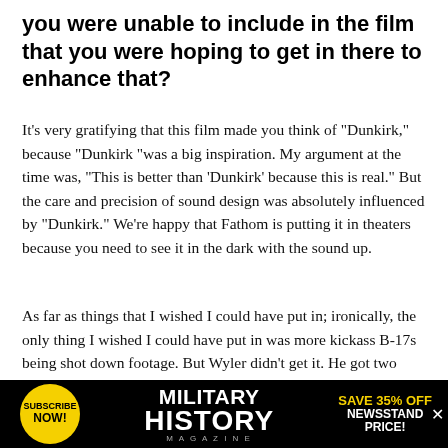you were unable to include in the film that you were hoping to get in there to enhance that?
It’s very gratifying that this film made you think of “Dunkirk,” because “Dunkirk “was a big inspiration. My argument at the time was, “This is better than ‘Dunkirk’ because this is real.” But the care and precision of sound design was absolutely influenced by “Dunkirk.” We’re happy that Fathom is putting it in theaters because you need to see it in the dark with the sound up.
As far as things that I wished I could have put in; ironically, the only thing I wished I could have put in was more kickass B-17s being shot down footage. But Wyler didn’t get it. He got two death spirals anc
[Figure (infographic): Military History Magazine advertisement. Black background with yellow circular badge on left reading SUBSCRIBE NOW!, center text MILITARY HISTORY MAGAZINE in white bold letters, right side yellow text SAVE 35% OFF NEWSSTAND PRICE!]